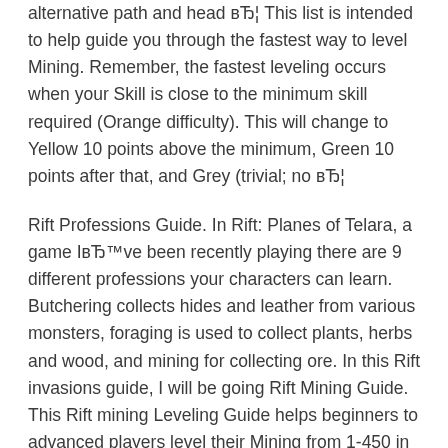alternative path and head вЂ¦ This list is intended to help guide you through the fastest way to level Mining. Remember, the fastest leveling occurs when your Skill is close to the minimum skill required (Orange difficulty). This will change to Yellow 10 points above the minimum, Green 10 points after that, and Grey (trivial; no вЂ¦
Rift Professions Guide. In Rift: Planes of Telara, a game IвЂ™ve been recently playing there are 9 different professions your characters can learn. Butchering collects hides and leather from various monsters, foraging is used to collect plants, herbs and wood, and mining for collecting ore. In this Rift invasions guide, I will be going Rift Mining Guide. This Rift mining Leveling Guide helps beginners to advanced players level their Mining from 1-450 in the most efficient manner.. Quick LinksMining Tips:. Armorsmithing, Artificing and Weaponsmithing all need ore; hence, Mining works well